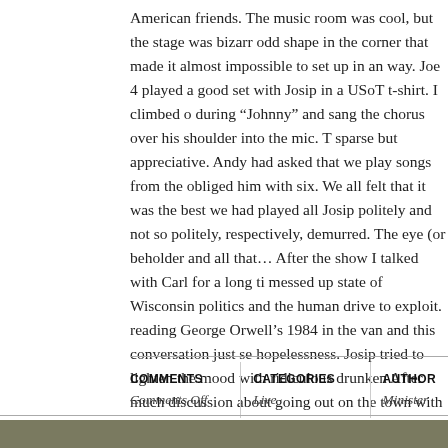American friends. The music room was cool, but the stage was bizarr odd shape in the corner that made it almost impossible to set up in a way. Joe 4 played a good set with Josip in a USoT t-shirt. I climbed o during “Johnny” and sang the chorus over his shoulder into the mic. T sparse but appreciative. Andy had asked that we play songs from the obliged him with six. We all felt that it was the best we had played al Josip politely and not so politely, respectively, demurred. The eye (or beholder and all that… After the show I talked with Carl for a long ti messed up state of Wisconsin politics and the human drive to exploit. reading George Orwell’s 1984 in the van and this conversation just se hopelessness. Josip tried to lighten the mood with ridiculous drunken After much discussion about going out on the town with Thomas, we the squat’s band dormitory.
| COMMENTS | CATEGORIES | AUTHOR |
| --- | --- | --- |
| Comments Off | Live | Minister |